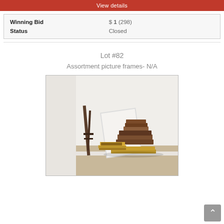View details
| Winning Bid | $ 1 (298) |
| Status | Closed |
Lot #82
Assortment picture frames- N/A
[Figure (photo): A pile of assorted picture frames in various sizes stacked on carpet in a corner, including gold and brown frames, plus a tall thin standing easel or frame holder leaning against the wall.]